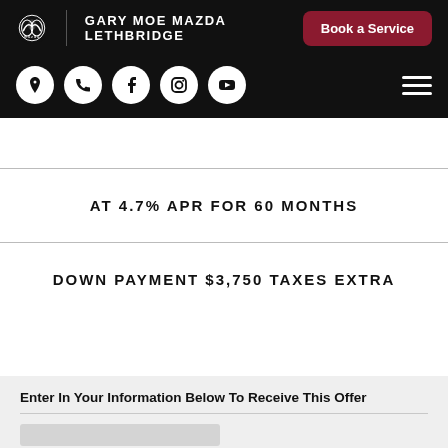GARY MOE MAZDA LETHBRIDGE | Book a Service
[Figure (screenshot): Navigation icons row: location pin, phone, Facebook, Instagram, YouTube — all white circles on black background; hamburger menu on right]
AT 4.7% APR FOR 60 MONTHS
DOWN PAYMENT $3,750 TAXES EXTRA
Enter In Your Information Below To Receive This Offer